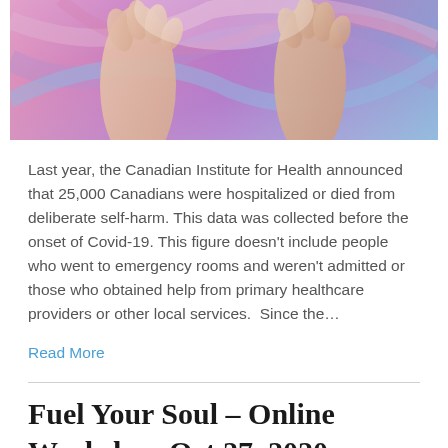[Figure (photo): A colorful abstract or spiritual image showing hands raised against a swirling purple and pink background]
Last year, the Canadian Institute for Health announced that 25,000 Canadians were hospitalized or died from deliberate self-harm. This data was collected before the onset of Covid-19. This figure doesn't include people who went to emergency rooms and weren't admitted or those who obtained help from primary healthcare providers or other local services.  Since the…
Read More
Fuel Your Soul – Online Workshop Oct 27, 2020